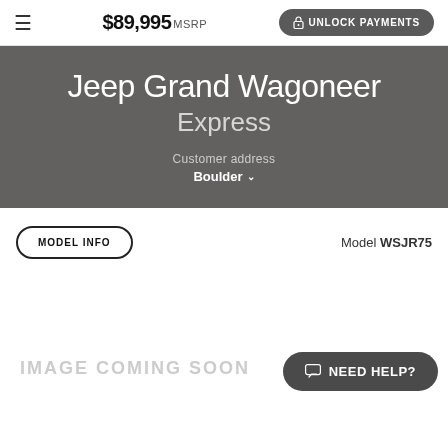$89,995 MSRP  UNLOCK PAYMENTS
Jeep Grand Wagoneer Express
Customer address Boulder
MODEL INFO   Model WSJR75
[Figure (other): IMAGE COMING SOON placeholder with NEED HELP? chat button]